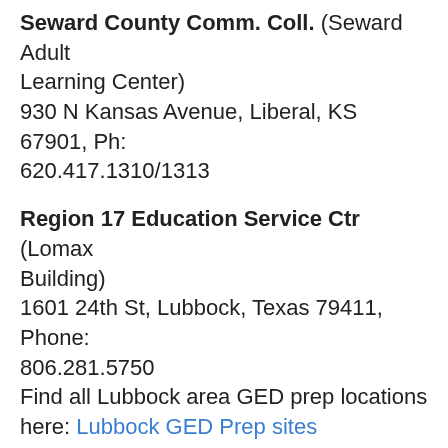Seward County Comm. Coll. (Seward Adult Learning Center)
930 N Kansas Avenue, Liberal, KS 67901, Ph: 620.417.1310/1313
Region 17 Education Service Ctr (Lomax Building)
1601 24th St, Lubbock, Texas 79411, Phone: 806.281.5750
Find all Lubbock area GED prep locations here: Lubbock GED Prep sites
Lovett Memorial Library (Region 16 Adult Education)
302 N. Main Street, McLean, TX 79057, Ph: 806-677-5281
GED classes are free, but you'll need to have a library card